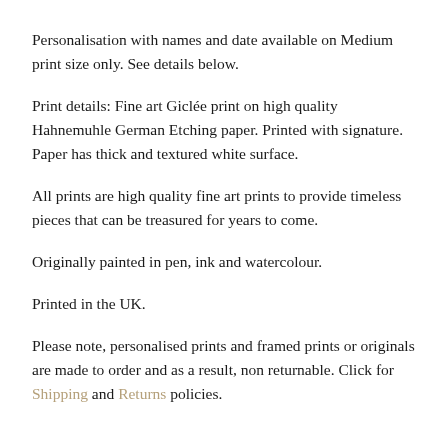Personalisation with names and date available on Medium print size only. See details below.
Print details: Fine art Giclée print on high quality Hahnemuhle German Etching paper. Printed with signature. Paper has thick and textured white surface.
All prints are high quality fine art prints to provide timeless pieces that can be treasured for years to come.
Originally painted in pen, ink and watercolour.
Printed in the UK.
Please note, personalised prints and framed prints or originals are made to order and as a result, non returnable. Click for Shipping and Returns policies.